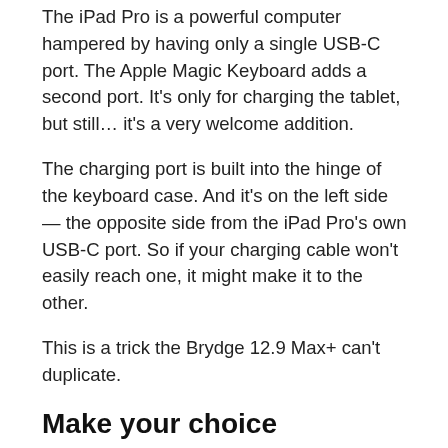The iPad Pro is a powerful computer hampered by having only a single USB-C port. The Apple Magic Keyboard adds a second port. It's only for charging the tablet, but still… it's a very welcome addition.
The charging port is built into the hinge of the keyboard case. And it's on the left side — the opposite side from the iPad Pro's own USB-C port. So if your charging cable won't easily reach one, it might make it to the other.
This is a trick the Brydge 12.9 Max+ can't duplicate.
Make your choice
There's an understandable bias toward Apple